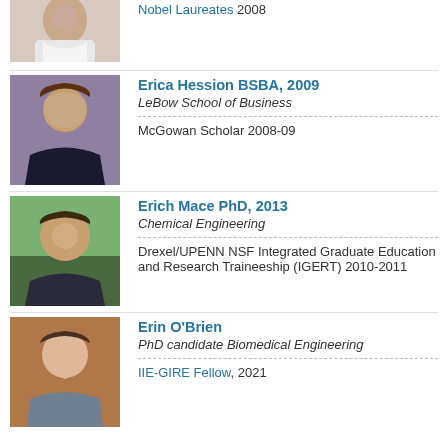[Figure (photo): Partial photo of woman, cropped at top]
Nobel Laureates 2008
[Figure (photo): Photo of Erica Hession, woman with long brown hair]
Erica Hession BSBA, 2009
LeBow School of Business
McGowan Scholar 2008-09
[Figure (photo): Photo of Erich Mace, young man smiling outdoors]
Erich Mace PhD, 2013
Chemical Engineering
Drexel/UPENN NSF Integrated Graduate Education and Research Traineeship (IGERT) 2010-2011
[Figure (photo): Photo of Erin O'Brien, young woman smiling]
Erin O'Brien
PhD candidate Biomedical Engineering
IIE-GIRE Fellow, 2021